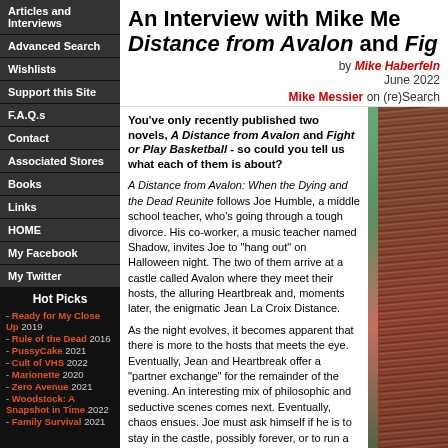Articles and Interviews
Advanced Search
Wishlists
Support this Site
F.A.Q.s
Contact
Associated Stores
Books
Links
HOME
My Facebook
My Twitter
Hot Picks
- Ready for My Close Up 2019
- Rule of the Dead 2016
- PussyCake 2021
- Cult of VHS 2022
- Marionette 2020
- Zero Avenue 2021
- Woodstock: A Snapshot in Time 2022
- Family Survival 2021
An Interview with Mike Me... Distance from Avalon and Fig...
by Mike Haberfeln...
June 2022
Mike Messier on (re)Search
You've only recently published two novels, A Distance from Avalon and Fight or Play Basketball - so could you tell us what each of them is about?
A Distance from Avalon: When the Dying and the Dead Reunite follows Joe Humble, a middle school teacher, who's going through a tough divorce. His co-worker, a music teacher named Shadow, invites Joe to “hang out” on Halloween night. The two of them arrive at a castle called Avalon where they meet their hosts, the alluring Heartbreak and, moments later, the enigmatic Jean La Croix Distance.
As the night evolves, it becomes apparent that there is more to the hosts that meets the eye. Eventually, Jean and Heartbreak offer a “partner exchange” for the remainder of the evening. An interesting mix of philosophic and seductive scenes comes next. Eventually,  chaos ensues. Joe must ask himself if he is to stay in the castle, possibly forever, or to run a distance from Avalon.
“And now for something completely different!”
[Figure (photo): Close-up photo of a person with auburn/red hair against a teal/green background]